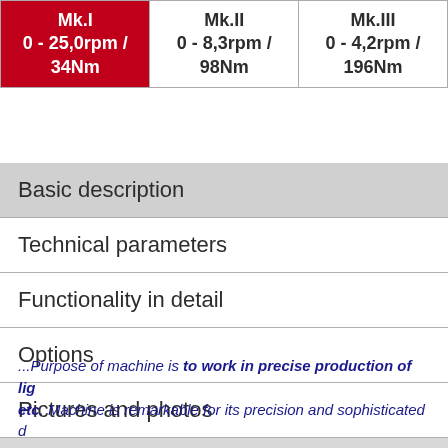| Mk.I | Mk.II | Mk.III |
| --- | --- | --- |
| 0 - 25,0rpm / 34Nm | 0 - 8,3rpm / 98Nm | 0 - 4,2rpm / 196Nm |
Basic description
Technical parameters
Functionality in detail
Options
Pictures and photos
...Purpose of machine is to work in precise production of lig etc. Machine is remarkable for its precision and sophisticated d